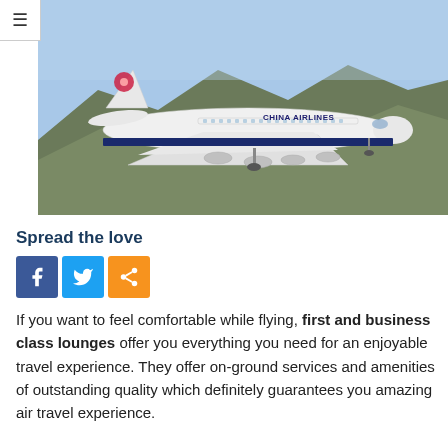≡
[Figure (photo): China Airlines Boeing 747 aircraft in flight over mountainous terrain against a blue sky]
Spread the love
[Figure (infographic): Social sharing buttons: Facebook (blue), Twitter (light blue), Share (orange)]
If you want to feel comfortable while flying, first and business class lounges offer you everything you need for an enjoyable travel experience. They offer on-ground services and amenities of outstanding quality which definitely guarantees you amazing air travel experience.